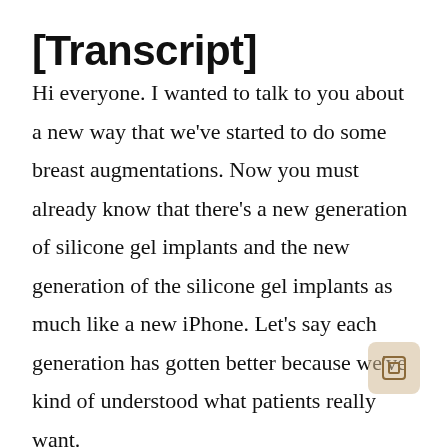[Transcript]
Hi everyone. I wanted to talk to you about a new way that we've started to do some breast augmentations. Now you must already know that there's a new generation of silicone gel implants and the new generation of the silicone gel implants as much like a new iPhone. Let's say each generation has gotten better because we've kind of understood what patients really want.

And the new silicone…